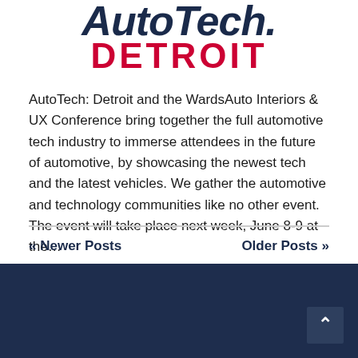AutoTech. DETROIT
AutoTech: Detroit and the WardsAuto Interiors & UX Conference bring together the full automotive tech industry to immerse attendees in the future of automotive, by showcasing the newest tech and the latest vehicles. We gather the automotive and technology communities like no other event. The event will take place next week, June 8-9 at the…
Read More
« Newer Posts    Older Posts »